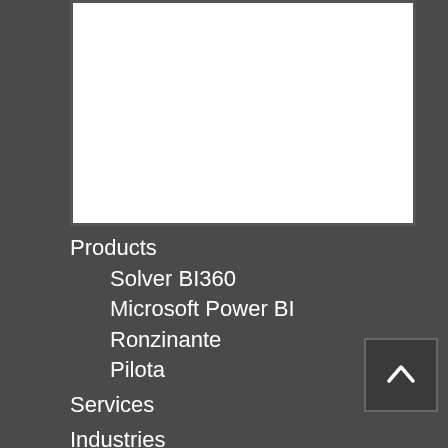[Figure (other): White rectangular content area with dark border, representing a webpage screenshot or embedded content area]
Products
Solver BI360
Microsoft Power BI
Ronzinante
Pilota
Services
Industries
Healthcare
Transportation
Nonprofit
Manufacturing
Service